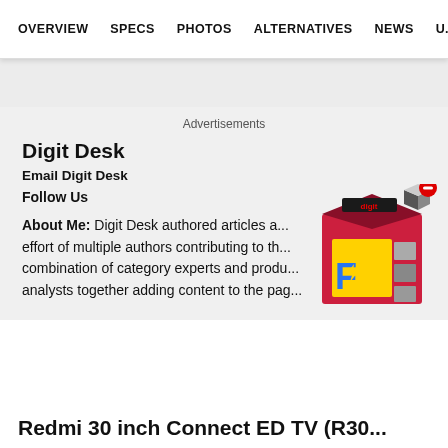OVERVIEW   SPECS   PHOTOS   ALTERNATIVES   NEWS   U...
Advertisements
Digit Desk
Email Digit Desk
Follow Us
About Me: Digit Desk authored articles a... effort of multiple authors contributing to th... combination of category experts and produ... analysts together adding content to the pag...
[Figure (illustration): Flipkart promotional box with digit logo and a red close/minus button overlay, showing a yellow shopping bag with Flipkart branding and product images]
Redmi 30 inch Connect ED TV (R30...